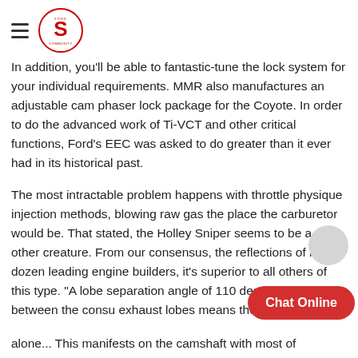In addition, you'll be able to fantastic-tune the lock system for your individual requirements. MMR also manufactures an adjustable cam phaser lock package for the Coyote. In order to do the advanced work of Ti-VCT and other critical functions, Ford's EEC was asked to do greater than it ever had in its historical past.
The most intractable problem happens with throttle physique injection methods, blowing raw gas the place the carburetor would be. That stated, the Holley Sniper seems to be a very other creature. From our consensus, the reflections of half a dozen leading engine builders, it's superior to all others of this type. "A lobe separation angle of 110 degrees plus 4 between the consu... exhaust lobes means the camshaft is floo...